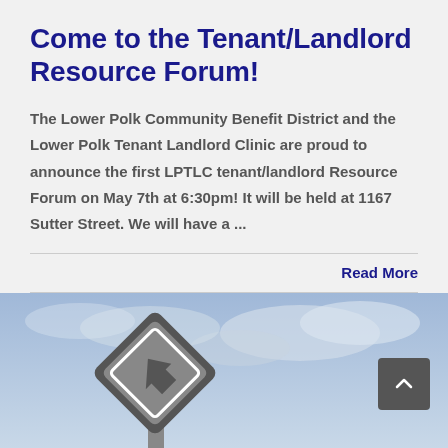Come to the Tenant/Landlord Resource Forum!
The Lower Polk Community Benefit District and the Lower Polk Tenant Landlord Clinic are proud to announce the first LPTLC tenant/landlord Resource Forum on May 7th at 6:30pm! It will be held at 1167 Sutter Street. We will have a ...
Read More
[Figure (photo): A street sign or road sign with a diamond-arrow shape against a cloudy sky background, with a dark arrow indicator visible]